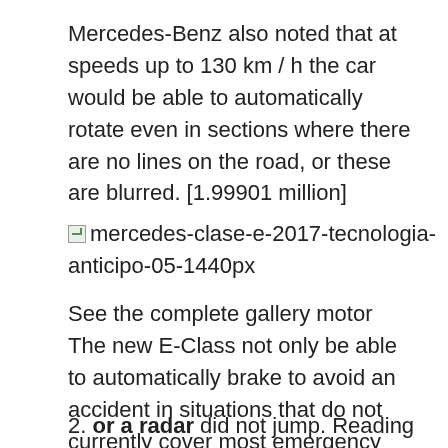Mercedes-Benz also noted that at speeds up to 130 km / h the car would be able to automatically rotate even in sections where there are no lines on the road, or these are blurred. [1.99901 million]
[Figure (photo): Broken image placeholder with alt text: mercedes-clase-e-2017-tecnologia-anticipo-05-1440px]
See the complete gallery motor
The new E-Class not only be able to automatically brake to avoid an accident in situations that do not currently cover most emergency braking systems but also turn the steering wheel slightly to make a dodge.
2. or a radar did not jump. Reading signs,